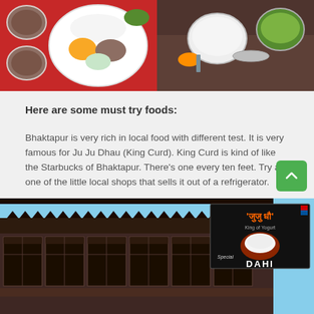[Figure (photo): Top food photo collage showing Nepali thali/dal bhat on red background (left) and traditional Nepali meal with white rice bowl and green chutney on wooden background (right)]
Here are some must try foods:
Bhaktapur is very rich in local food with different test. It is very famous for Ju Ju Dhau (King Curd). King Curd is kind of like the Starbucks of Bhaktapur. There's one every ten feet. Try at one of the little local shops that sells it out of a refrigerator.
[Figure (photo): Bottom photo showing traditional Bhaktapur wooden building with intricate carved windows and roof against blue sky. An inset shows Ju Ju Dhau (King Curd / Special DAHI) advertisement with a clay bowl of white yogurt on black background.]